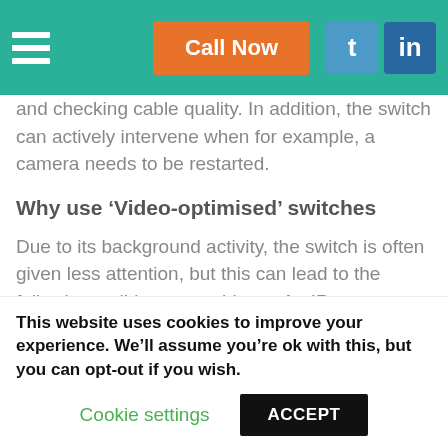Call Now
and checking cable quality. In addition, the switch can actively intervene when for example, a camera needs to be restarted.
Why use ‘Video-optimised’ switches
Due to its background activity, the switch is often given less attention, but this can lead to the following well-known problems: An IP camera powered by PoE fails for some inexplicable reason or hangs. The network connection is on, PoE is on, and the camera is fine, and yet
This website uses cookies to improve your experience. We’ll assume you’re ok with this, but you can opt-out if you wish.
Cookie settings   ACCEPT